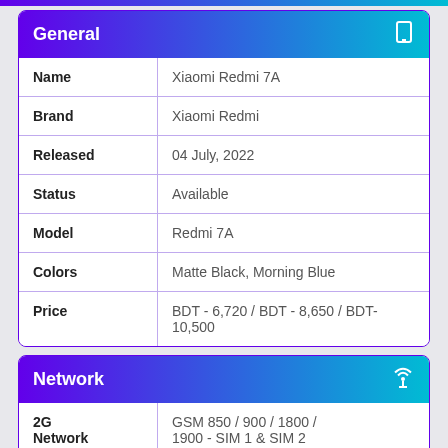| Field | Value |
| --- | --- |
| Name | Xiaomi Redmi 7A |
| Brand | Xiaomi Redmi |
| Released | 04 July, 2022 |
| Status | Available |
| Model | Redmi 7A |
| Colors | Matte Black, Morning Blue |
| Price | BDT - 6,720 / BDT - 8,650 / BDT- 10,500 |
| Field | Value |
| --- | --- |
| 2G Network | GSM 850 / 900 / 1800 / 1900 - SIM 1 & SIM 2 |